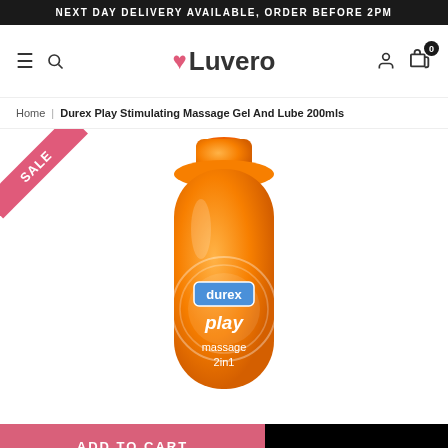NEXT DAY DELIVERY AVAILABLE, ORDER BEFORE 2PM
[Figure (logo): Luvero website navigation bar with hamburger menu, search icon, Luvero heart logo, account icon, and cart icon with 0 items]
Home | Durex Play Stimulating Massage Gel And Lube 200mls
[Figure (photo): Durex Play Massage 2in1 orange gel bottle with SALE badge in top left corner]
ADD TO CART